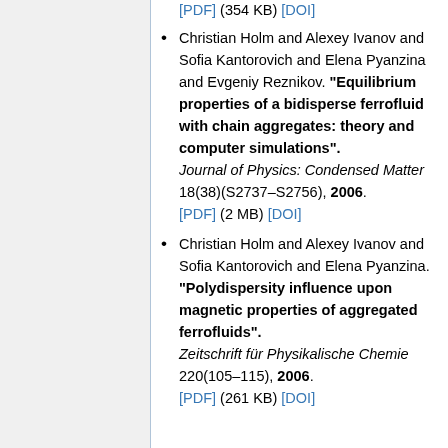[PDF] (354 KB) [DOI]
Christian Holm and Alexey Ivanov and Sofia Kantorovich and Elena Pyanzina and Evgeniy Reznikov. "Equilibrium properties of a bidisperse ferrofluid with chain aggregates: theory and computer simulations". Journal of Physics: Condensed Matter 18(38)(S2737–S2756), 2006. [PDF] (2 MB) [DOI]
Christian Holm and Alexey Ivanov and Sofia Kantorovich and Elena Pyanzina. "Polydispersity influence upon magnetic properties of aggregated ferrofluids". Zeitschrift für Physikalische Chemie 220(105–115), 2006. [PDF] (261 KB) [DOI]